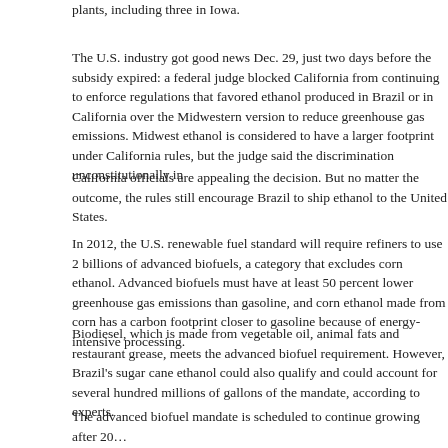plants, including three in Iowa.
The U.S. industry got good news Dec. 29, just two days before the subsidy expired: a federal judge blocked California from continuing to enforce regulations that favored ethanol produced in Brazil or in California over the Midwestern version to reduce greenhouse gas emissions. Midwest ethanol is considered to have a larger footprint under California rules, but the judge said the discrimination unconstitutionally interfered with interstate commerce.
California officials are appealing the decision. But no matter the outcome, the rules still encourage Brazil to ship ethanol to the United States.
In 2012, the U.S. renewable fuel standard will require refiners to use 2 billion gallons of advanced biofuels, a category that excludes corn ethanol. Advanced biofuels must have at least 50 percent lower greenhouse gas emissions than gasoline, and corn ethanol is made from corn has a carbon footprint closer to gasoline because of energy-intensive processing.
Biodiesel, which is made from vegetable oil, animal fats and restaurant grease, meets the advanced biofuel requirement. However, Brazil's sugar cane ethanol could also qualify and could account for several hundred millions of gallons of the mandate, according to experts.
The advanced biofuel mandate is scheduled to continue growing after 2012, reaching 21 billion gallons by 2022.
Backers said they looked to Brazil, which has built an economy on ethanol, as the model to